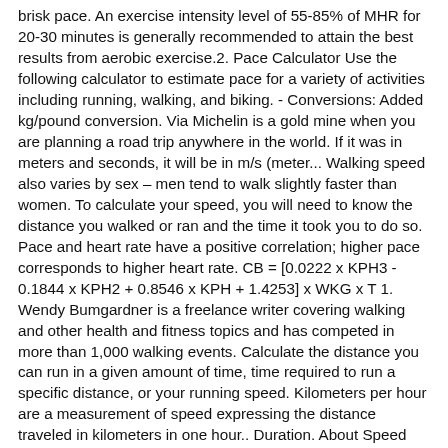brisk pace. An exercise intensity level of 55-85% of MHR for 20-30 minutes is generally recommended to attain the best results from aerobic exercise.2. Pace Calculator Use the following calculator to estimate pace for a variety of activities including running, walking, and biking. - Conversions: Added kg/pound conversion. Via Michelin is a gold mine when you are planning a road trip anywhere in the world. If it was in meters and seconds, it will be in m/s (meter... Walking speed also varies by sex – men tend to walk slightly faster than women. To calculate your speed, you will need to know the distance you walked or ran and the time it took you to do so. Pace and heart rate have a positive correlation; higher pace corresponds to higher heart rate. CB = [0.0222 x KPH3 - 0.1844 x KPH2 + 0.8546 x KPH + 1.4253] x WKG x T 1. Wendy Bumgardner is a freelance writer covering walking and other health and fitness topics and has competed in more than 1,000 walking events. Calculate the distance you can run in a given amount of time, time required to run a specific distance, or your running speed. Kilometers per hour are a measurement of speed expressing the distance traveled in kilometers in one hour.. Duration. About Speed Distance Time Calculator. The purpose of the calculator is to calculate the pace for a given distance, based on another measured time for a differing course distance. You can opt-out at any time. CB = [0.0244 x KPH3 - 0.2079 x KPH2 + 0.8053 x KPH + 1.3281] x WKG x T 1. The preferred walking speed is the speed at which humans or animals choose to walk.Many people tend to walk at about 1.4 metres per second (5.0 km/h; 3.1 mph; 4.6 ft/s). The maximal gait speed test will measure your fastest walking speed. Walking speed by age 20-29 years: 3.00 mph (4.83 km/h) 30 ... Walking speed also varies by sex – men tend to walk